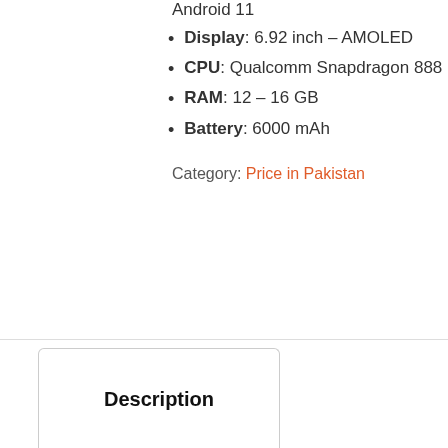Android 11
Display: 6.92 inch – AMOLED
CPU: Qualcomm Snapdragon 888
RAM: 12 – 16 GB
Battery: 6000 mAh
Category: Price in Pakistan
Description